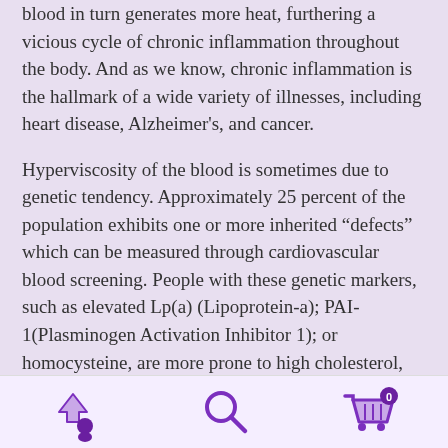blood in turn generates more heat, furthering a vicious cycle of chronic inflammation throughout the body. And as we know, chronic inflammation is the hallmark of a wide variety of illnesses, including heart disease, Alzheimer's, and cancer.
Hyperviscosity of the blood is sometimes due to genetic tendency. Approximately 25 percent of the population exhibits one or more inherited “defects” which can be measured through cardiovascular blood screening. People with these genetic markers, such as elevated Lp(a) (Lipoprotein-a); PAI-1(Plasminogen Activation Inhibitor 1); or homocysteine, are more prone to high cholesterol, high blood pressure and heart disease as well as aggressive cancer and other chronic illnesses.
[Figure (other): Bottom navigation bar with three icons: an upload/profile icon on the left, a search magnifying glass icon in the center, and a shopping cart icon with badge showing 0 on the right]